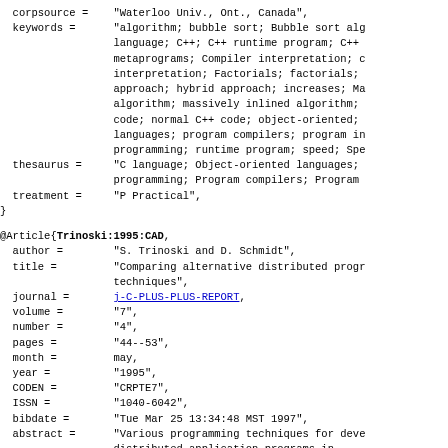corpsource = "Waterloo Univ., Ont., Canada",
keywords =  "algorithm; bubble sort; Bubble sort alg
             language; C++; C++ runtime program; C++
             metaprograms; Compiler interpretation; c
             interpretation; Factorials; factorials;
             approach; hybrid approach; increases; Ma
             algorithm; massively inlined algorithm;
             code; normal C++ code; object-oriented;
             languages; program compilers; program in
             programming; runtime program; speed; Spe
thesaurus =  "C language; Object-oriented languages;
             programming; Program compilers; Program
treatment =  "P Practical",
}
@Article{Trinoski:1995:CAD,
  author =    "S. Trinoski and D. Schmidt",
  title =     "Comparing alternative distributed prog
              techniques",
  journal =   j-C-PLUS-PLUS-REPORT,
  volume =    "7",
  number =    "4",
  pages =     "44--53",
  month =     may,
  year =      "1995",
  CODEN =     "CRPTE7",
  ISSN =      "1040-6042",
  bibdate =   "Tue Mar 25 13:34:48 MST 1997",
  abstract =  "Various programming techniques for deve
              distributed application programs in